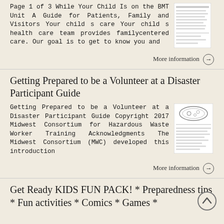Page 1 of 3 While Your Child Is on the BMT Unit A Guide for Patients, Family and Visitors Your child s care Your child s health care team provides familycentered care. Our goal is to get to know you and
[Figure (illustration): Thumbnail image of a document page]
More information →
Getting Prepared to be a Volunteer at a Disaster Participant Guide
Getting Prepared to be a Volunteer at a Disaster Participant Guide Copyright 2017 Midwest Consortium for Hazardous Waste Worker Training Acknowledgments The Midwest Consortium (MWC) developed this introduction
[Figure (illustration): Thumbnail of a document page with an oval logo at top]
More information →
Get Ready KIDS FUN PACK! * Preparedness tips * Fun activities * Comics * Games *